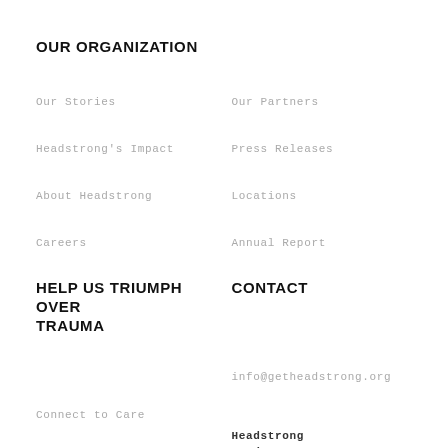OUR ORGANIZATION
Our Stories
Our Partners
Headstrong's Impact
Press Releases
About Headstrong
Locations
Careers
Annual Report
HELP US TRIUMPH OVER TRAUMA
CONTACT
Connect to Care
Become a Clinical Partner
info@getheadstrong.org
Headstrong Headquarters: